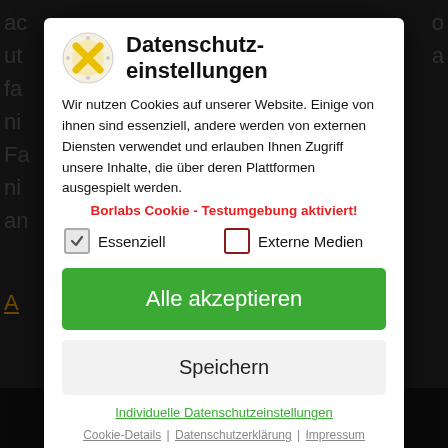[Figure (screenshot): Cookie consent modal dialog (Borlabs Cookie) overlaid on a dark background webpage. The modal has a logo, title 'Datenschutzeinstellungen', description text, a red warning about test environment, two checkboxes (Essenziell checked, Externe Medien unchecked), a green 'Alle akzeptieren' button, a gray 'Speichern' button, and footer links.]
Datenschutzeinstellungen
Wir nutzen Cookies auf unserer Website. Einige von ihnen sind essenziell, andere werden von externen Diensten verwendet und erlauben Ihnen Zugriff unsere Inhalte, die über deren Plattformen ausgespielt werden.
Borlabs Cookie - Testumgebung aktiviert!
Essenziell
Externe Medien
Alle akzeptieren
Speichern
Individuelle Datenschutzeinstellungen
Cookie-Details | Datenschutzerklärung | Impressum